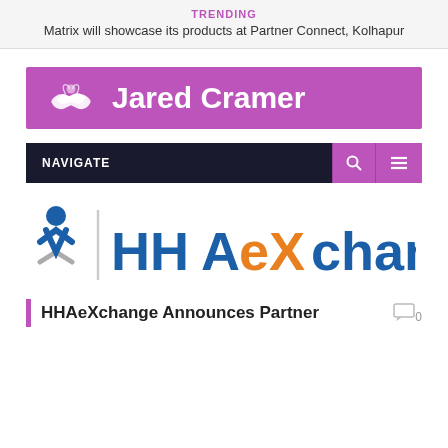TRENDING
Matrix will showcase its products at Partner Connect, Kolhapur
[Figure (logo): Jared Cramer website logo — purple background with white handshake icon and white bold text 'Jared Cramer']
NAVIGATE
[Figure (logo): HHAeXchange company logo — blue X figure symbol with vertical line divider and orange/blue 'HHAeXchange' text]
HHAeXchange Announces Partner